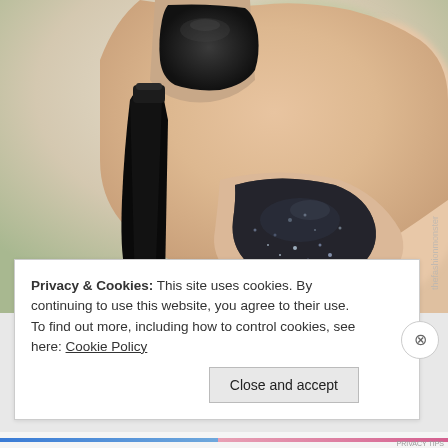[Figure (photo): Close-up photo of fingers holding a dark/black nail polish bottle. Two fingers are visible with dark sparkly/glittery dark grey-black nail polish applied. The background is blurred green. A watermark text appears vertically on the right side of the image.]
Privacy & Cookies: This site uses cookies. By continuing to use this website, you agree to their use.
To find out more, including how to control cookies, see here: Cookie Policy
Close and accept